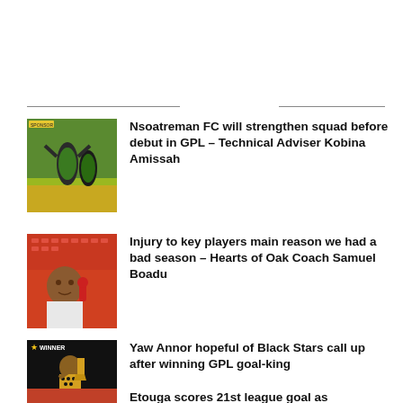[Figure (photo): Horizontal divider lines separating header from content]
[Figure (photo): Soccer players celebrating on a field, wearing green and black jerseys]
Nsoatreman FC will strengthen squad before debut in GPL – Technical Adviser Kobina Amissah
[Figure (photo): Man being interviewed holding a microphone, sitting in stadium seating]
Injury to key players main reason we had a bad season – Hearts of Oak Coach Samuel Boadu
[Figure (photo): Winner award ceremony, man holding golden boot trophy, WINNER label visible]
Yaw Annor hopeful of Black Stars call up after winning GPL goal-king
[Figure (photo): Partial image at bottom of page, red/orange tones]
Etouga scores 21st league goal as